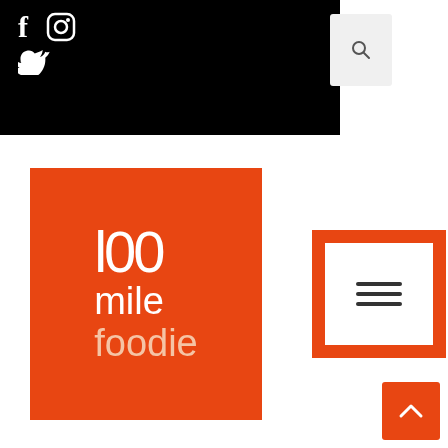[Figure (logo): Social media icons (Facebook, Instagram, Twitter) on black background header bar]
[Figure (logo): 100 mile foodie logo - orange/red square with white text reading '100 mile foodie']
[Figure (other): Orange hamburger menu button with white inner square and three horizontal lines]
Cover with a tight-fitting lid, transfer to the oven and cook, turning the beef halfway through the cooking time at around the 1 ½ hour mark. The beef should cook for three hours or until tender.
Remove the beef from the sauce and place on a tray. Using two forks shred the meat. Return the beef to the sauce and stir to combine. Remove and discard the bay leaves to s[...]